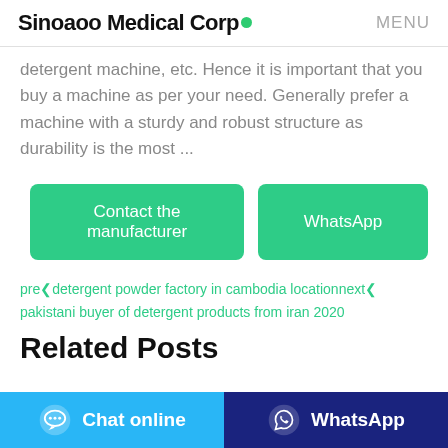Sinoaoo Medical Corp● MENU
detergent machine, etc. Hence it is important that you buy a machine as per your need. Generally prefer a machine with a sturdy and robust structure as durability is the most ...
Contact the manufacturer   WhatsApp
pre❮detergent powder factory in cambodia location next❯ pakistani buyer of detergent products from iran 2020
Related Posts
Chat online   WhatsApp